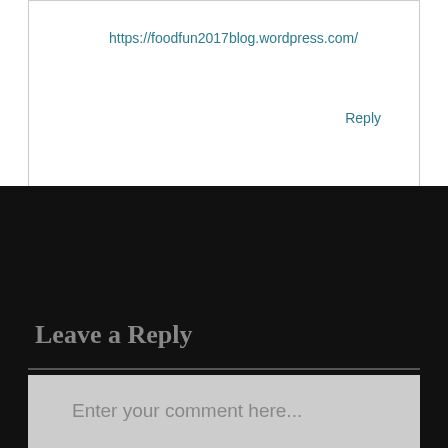https://foodfun2017blog.wordpress.com/
Reply
Leave a Reply
Enter your comment here...
[Figure (other): Scroll to top button - circular button with upward chevron arrow]
Proudly powered by WordPress | Theme: Amadeus by Themeisle.